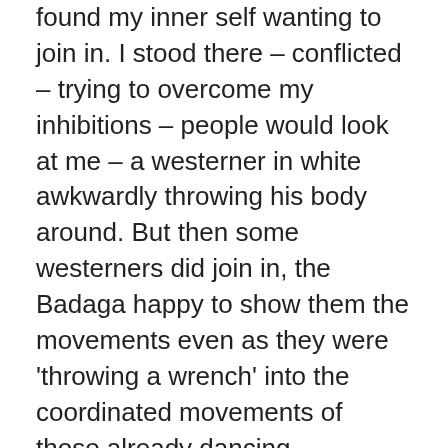found my inner self wanting to join in. I stood there – conflicted – trying to overcome my inhibitions – people would look at me – a westerner in white awkwardly throwing his body around. But then some westerners did join in, the Badaga happy to show them the movements even as they were 'throwing a wrench' into the coordinated movements of those already dancing.
Still, I stood by the sidelines. Then, at the end of the first night, as Darshan ended, and the Badaga still playing, Amma Herself stood up to leave the stage – and made a full circle – turning round with the beat, no inhibition, no concerns. Just dancing…..
The next day, I knew the Badaga would be there again. Would I join in?
Around 2am, they were singing and dancing again. Again,